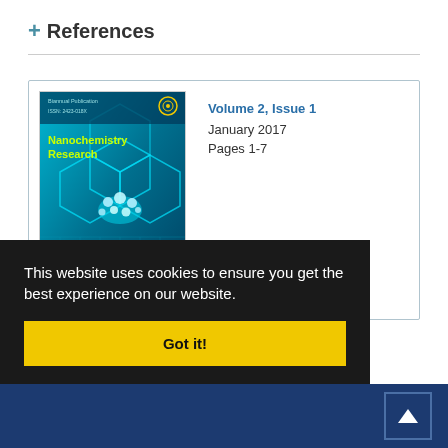+ References
[Figure (screenshot): Journal cover of Nanochemistry Research, Volume 2 Issue 1, January 2017, Pages 1-7. The cover shows a teal/blue background with hexagonal molecular structures and nanoscale droplets imagery. Text on cover: Biannual Publication, ISSN: 2423-018X, Nanochemistry Research, Editor-in-Chief: Ali Morsali]
Volume 2, Issue 1
January 2017
Pages 1-7
This website uses cookies to ensure you get the best experience on our website.
Got it!